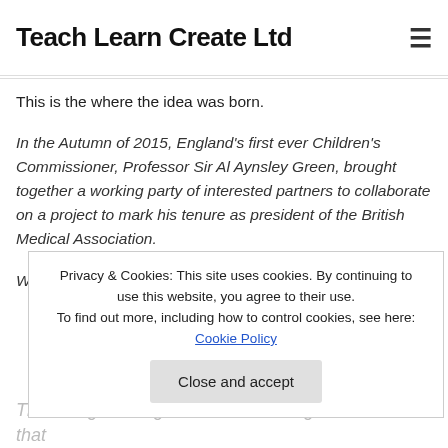schools across the UK to help achieve this idea. That's
Teach Learn Create Ltd
≡
the working health part, the influences and deta
This is the where the idea was born.
In the Autumn of 2015, England's first ever Children's Commissioner, Professor Sir Al Aynsley Green, brought together a working party of interested partners to collaborate on a project to mark his tenure as president of the British Medical Association.
What drives this partnership is a belief in the ability we
Privacy & Cookies: This site uses cookies. By continuing to use this website, you agree to their use. To find out more, including how to control cookies, see here: Cookie Policy
Close and accept
The Being Well Agenda is what has grown out of that